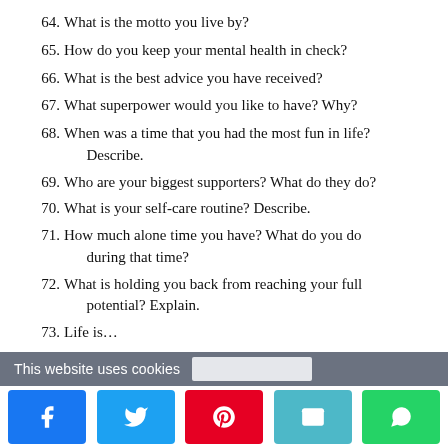64. What is the motto you live by?
65. How do you keep your mental health in check?
66. What is the best advice you have received?
67. What superpower would you like to have? Why?
68. When was a time that you had the most fun in life? Describe.
69. Who are your biggest supporters? What do they do?
70. What is your self-care routine? Describe.
71. How much alone time you have? What do you do during that time?
72. What is holding you back from reaching your full potential? Explain.
73. Life is…
This website uses cookies
Social share bar: Facebook, Twitter, Pinterest, Email, WhatsApp